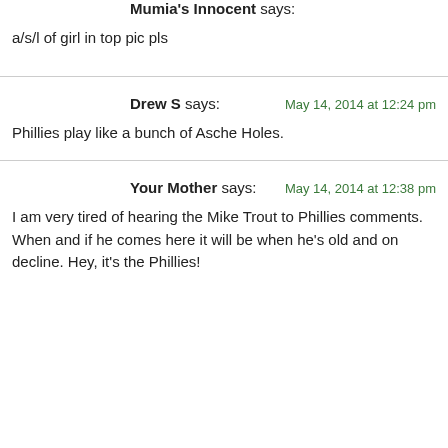Mumia's Innocent says:
a/s/l of girl in top pic pls
Drew S says:
May 14, 2014 at 12:24 pm
Phillies play like a bunch of Asche Holes.
Your Mother says:
May 14, 2014 at 12:38 pm
I am very tired of hearing the Mike Trout to Phillies comments. When and if he comes here it will be when he's old and on decline. Hey, it's the Phillies!